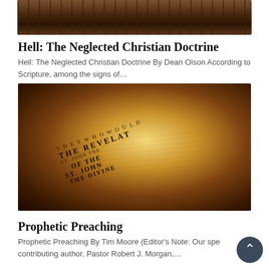[Figure (photo): Dark reddish-brown image of wooden planks or a path, with rocky terrain, suggesting a rustic or desert scene.]
Hell: The Neglected Christian Doctrine
Hell: The Neglected Christian Doctrine By Dean Olson According to Scripture, among the signs of…
[Figure (photo): Close-up photo of an old open Bible showing 'THE REVELATION OF ST. JOHN THE DIVINE' page with dramatic golden and warm lighting.]
Prophetic Preaching
Prophetic Preaching By Tim Moore (Editor's Note: Our special contributing author, Pastor Robert J. Morgan,…